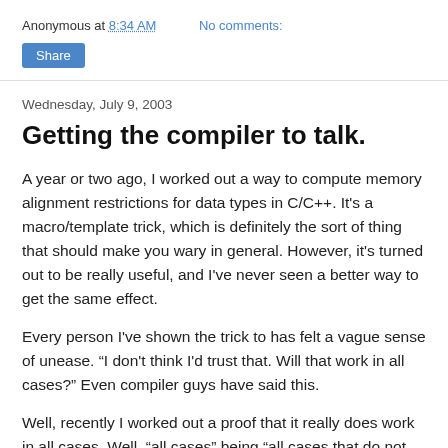Anonymous at 8:34 AM    No comments:
Share
Wednesday, July 9, 2003
Getting the compiler to talk.
A year or two ago, I worked out a way to compute memory alignment restrictions for data types in C/C++. It's a macro/template trick, which is definitely the sort of thing that should make you wary in general. However, it's turned out to be really useful, and I've never seen a better way to get the same effect.
Every person I've shown the trick to has felt a vague sense of unease. “I don't think I'd trust that. Will that work in all cases?” Even compiler guys have said this.
Well, recently I worked out a proof that it really does work in all cases. Well, “all cases” being “all cases that do not